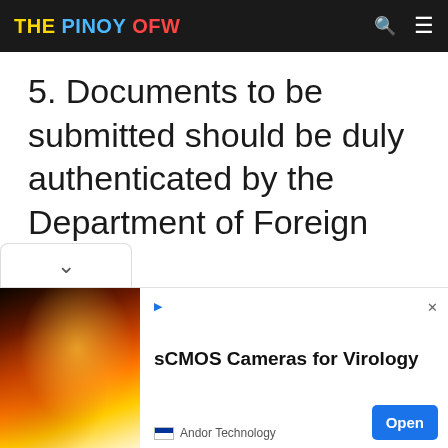THE PINOY OFW
5. Documents to be submitted should be duly authenticated by the Department of Foreign Affairs.
[Figure (screenshot): Advertisement banner for sCMOS Cameras for Virology by Andor Technology with an Open button]